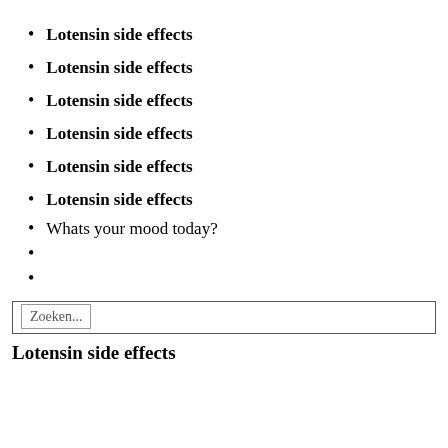Lotensin side effects
Lotensin side effects
Lotensin side effects
Lotensin side effects
Lotensin side effects
Lotensin side effects
Whats your mood today?
Zoeken...
Lotensin side effects